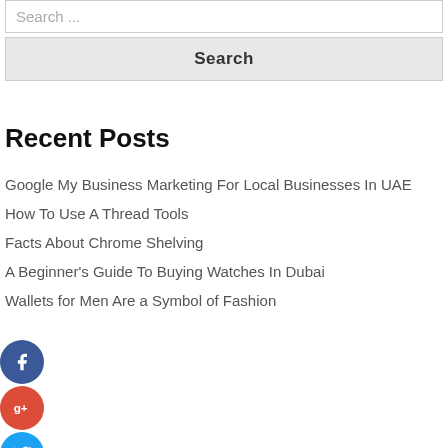Search ...
Search
Recent Posts
Google My Business Marketing For Local Businesses In UAE
How To Use A Thread Tools
Facts About Chrome Shelving
A Beginner's Guide To Buying Watches In Dubai
Wallets for Men Are a Symbol of Fashion